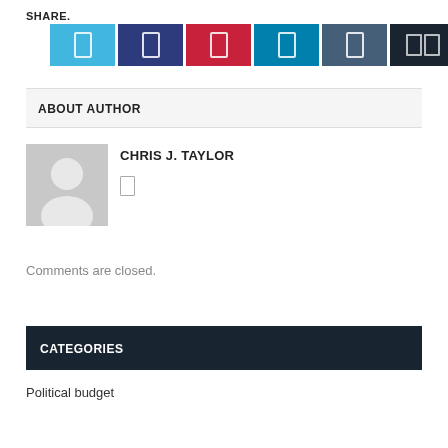SHARE.
[Figure (other): Social share buttons: Twitter (light blue), Facebook (dark blue), Pinterest (red), LinkedIn (teal), Tumblr (slate blue), share count (very dark)]
ABOUT AUTHOR
[Figure (photo): Generic author avatar placeholder with silhouette icon on grey background]
CHRIS J. TAYLOR
Comments are closed.
CATEGORIES
Political budget